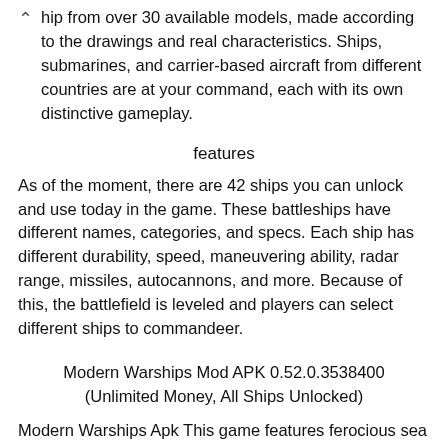hip from over 30 available models, made according to the drawings and real characteristics. Ships, submarines, and carrier-based aircraft from different countries are at your command, each with its own distinctive gameplay.
features
As of the moment, there are 42 ships you can unlock and use today in the game. These battleships have different names, categories, and specs. Each ship has different durability, speed, maneuvering ability, radar range, missiles, autocannons, and more. Because of this, the battlefield is leveled and players can select different ships to commandeer.
Modern Warships Mod APK 0.52.0.3538400 (Unlimited Money, All Ships Unlocked)
Modern Warships Apk This game features ferocious sea battles using a variety of battleships! Equip your ship with the latest guns and missiles so you can fight others in real-time PVP combats. You can also equip bomb-throwers, torpedoes, and many more to